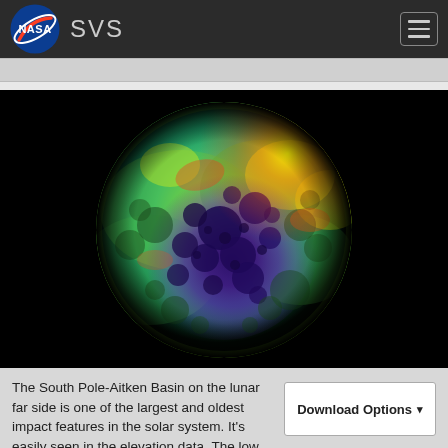NASA SVS
[Figure (photo): False-color elevation map of the Moon's far side showing the South Pole-Aitken Basin, rendered in shades of blue, green, yellow, and red to indicate terrain elevation. The large impact basin appears as a deep blue-purple region in the center-south of the sphere against a black background.]
The South Pole-Aitken Basin on the lunar far side is one of the largest and oldest impact features in the solar system. It's easily seen in the elevation data. The low